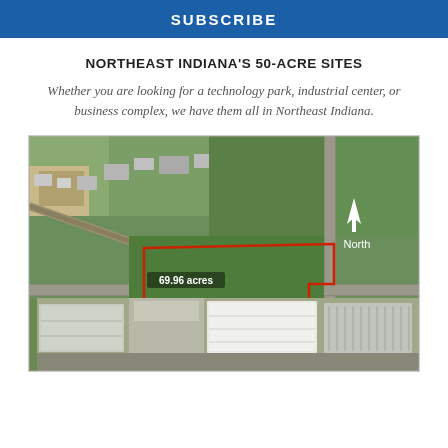SUBSCRIBE
NORTHEAST INDIANA'S 50-ACRE SITES
Whether you are looking for a technology park, industrial center, or business complex, we have them all in Northeast Indiana.
[Figure (photo): Aerial satellite view of a 69.96-acre land parcel in Northeast Indiana, outlined in red, with a white arrow pointing to North label. Industrial buildings visible in the lower portion.]